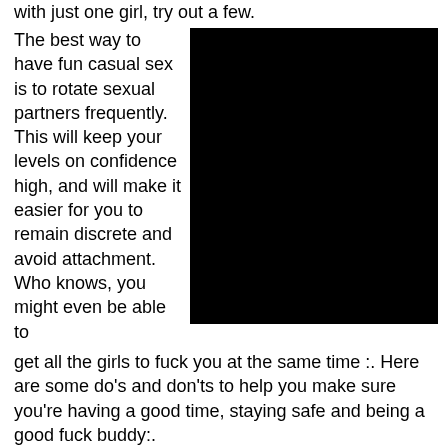with just one girl, try out a few.
The best way to have fun casual sex is to rotate sexual partners frequently. This will keep your levels on confidence high, and will make it easier for you to remain discrete and avoid attachment. Who knows, you might even be able to get all the girls to fuck you at the same time :. Here are some do's and don'ts to help you make sure you're having a good time, staying safe and being a good fuck buddy:.
[Figure (photo): Black redacted/censored image]